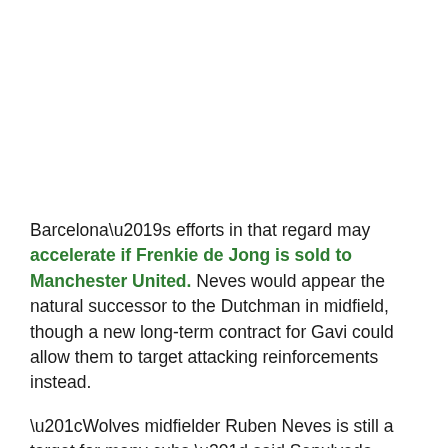Barcelona's efforts in that regard may accelerate if Frenkie de Jong is sold to Manchester United. Neves would appear the natural successor to the Dutchman in midfield, though a new long-term contract for Gavi could allow them to target attacking reinforcements instead.
“Wolves midfielder Ruben Neves is still a target for many cubs,” said Sepulveda. “But we know the price the club want is not easy to bring an official bid.
“If Neves leaves Wolves, the only club that I know was going to do a formal offer was Barcelona. But we know